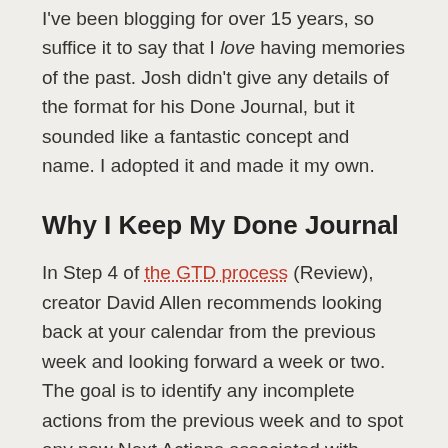I've been blogging for over 15 years, so suffice it to say that I love having memories of the past. Josh didn't give any details of the format for his Done Journal, but it sounded like a fantastic concept and name. I adopted it and made it my own.
Why I Keep My Done Journal
In Step 4 of the GTD process (Review), creator David Allen recommends looking back at your calendar from the previous week and looking forward a week or two. The goal is to identify any incomplete actions from the previous week and to spot any new Next Actions associated with upcoming events. When I was using Wunderlist to do my Weekly Review, I used that principle to delete the completed tasks from my account.
The part with all the deleting was initially just about Wunderlist's features and flaws. By default, the search